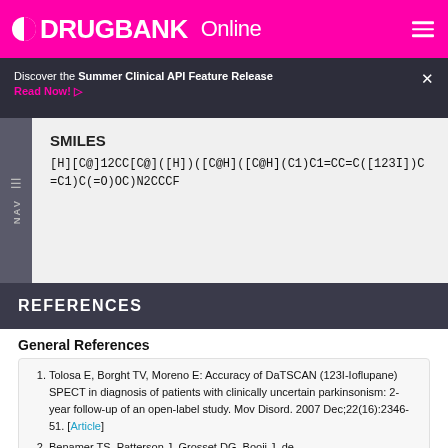DRUGBANK Online
Discover the Summer Clinical API Feature Release
Read Now!
SMILES
[H][C@]12CC[C@]([H])([C@H]([C@H](C1)C1=CC=C([123I])C=C1)C(=O)OC)N2CCCF
REFERENCES
General References
Tolosa E, Borght TV, Moreno E: Accuracy of DaTSCAN (123I-Ioflupane) SPECT in diagnosis of patients with clinically uncertain parkinsonism: 2-year follow-up of an open-label study. Mov Disord. 2007 Dec;22(16):2346-51. [Article]
Benamer TS, Patterson J, Grosset DG, Booij J, de